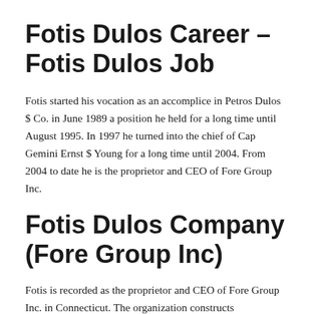Fotis Dulos Career – Fotis Dulos Job
Fotis started his vocation as an accomplice in Petros Dulos $ Co. in June 1989 a position he held for a long time until August 1995. In 1997 he turned into the chief of Cap Gemini Ernst $ Young for a long time until 2004. From 2004 to date he is the proprietor and CEO of Fore Group Inc.
Fotis Dulos Company (Fore Group Inc)
Fotis is recorded as the proprietor and CEO of Fore Group Inc. in Connecticut. The organization constructs extravagance homes in the prosperous Farmington Valley and Fairfield County divisions of the state. The organization has not as of late been in...